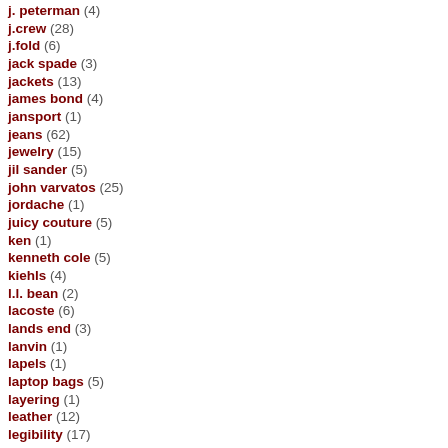j. peterman (4)
j.crew (28)
j.fold (6)
jack spade (3)
jackets (13)
james bond (4)
jansport (1)
jeans (62)
jewelry (15)
jil sander (5)
john varvatos (25)
jordache (1)
juicy couture (5)
ken (1)
kenneth cole (5)
kiehls (4)
l.l. bean (2)
lacoste (6)
lands end (3)
lanvin (1)
lapels (1)
laptop bags (5)
layering (1)
leather (12)
legibility (17)
levis (4)